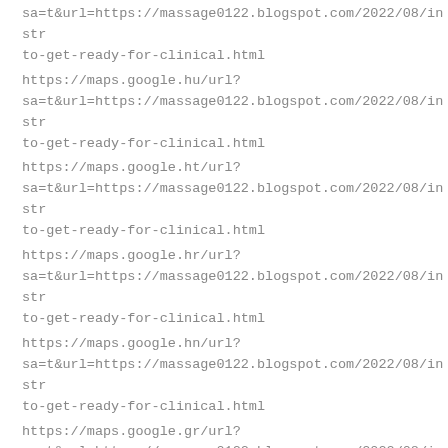sa=t&url=https://massage0122.blogspot.com/2022/08/instr to-get-ready-for-clinical.html
https://maps.google.hu/url? sa=t&url=https://massage0122.blogspot.com/2022/08/instr to-get-ready-for-clinical.html
https://maps.google.ht/url? sa=t&url=https://massage0122.blogspot.com/2022/08/instr to-get-ready-for-clinical.html
https://maps.google.hr/url? sa=t&url=https://massage0122.blogspot.com/2022/08/instr to-get-ready-for-clinical.html
https://maps.google.hn/url? sa=t&url=https://massage0122.blogspot.com/2022/08/instr to-get-ready-for-clinical.html
https://maps.google.gr/url? sa=t&url=https://massage0122.blogspot.com/2022/08/instr to-get-ready-for-clinical.html
https://maps.google.gm/url? sa=t&url=https://massage0122.blogspot.com/2022/08/instr to-get-ready-for-clinical.html